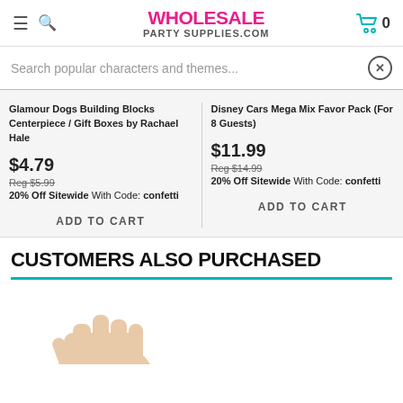WHOLESALE PARTY SUPPLIES.COM
Search popular characters and themes...
Glamour Dogs Building Blocks Centerpiece / Gift Boxes by Rachael Hale
$4.79
Reg $5.99
20% Off Sitewide With Code: confetti
ADD TO CART
Disney Cars Mega Mix Favor Pack (For 8 Guests)
$11.99
Reg $14.99
20% Off Sitewide With Code: confetti
ADD TO CART
CUSTOMERS ALSO PURCHASED
[Figure (photo): Partial product image showing a hand/item, bottom of page]